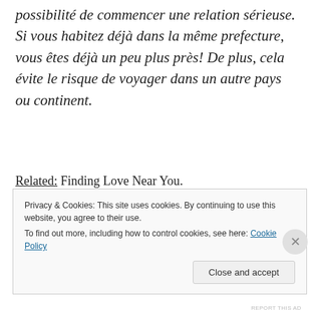possibilité de commencer une relation sérieuse. Si vous habitez déjà dans la même prefecture, vous êtes déjà un peu plus près! De plus, cela évite le risque de voyager dans un autre pays ou continent.
Related: Finding Love Near You.
Privacy & Cookies: This site uses cookies. By continuing to use this website, you agree to their use. To find out more, including how to control cookies, see here: Cookie Policy